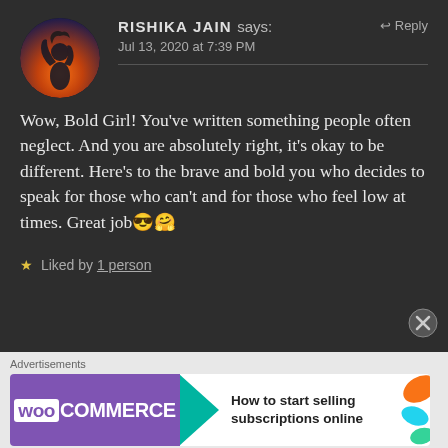RISHIKA JAIN says:
Jul 13, 2020 at 7:39 PM
Wow, Bold Girl! You've written something people often neglect. And you are absolutely right, it's okay to be different. Here's to the brave and bold you who decides to speak for those who can't and for those who feel low at times. Great job😎🤗
★ Liked by 1 person
[Figure (infographic): WooCommerce advertisement banner: 'How to start selling subscriptions online']